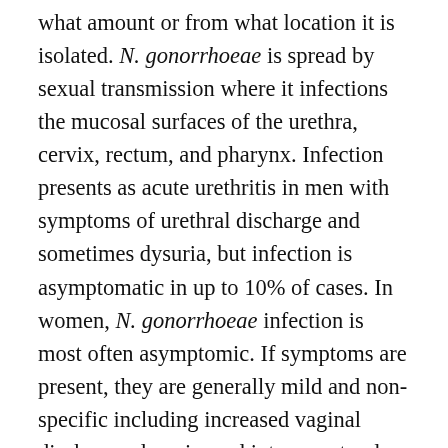what amount or from what location it is isolated. N. gonorrhoeae is spread by sexual transmission where it infections the mucosal surfaces of the urethra, cervix, rectum, and pharynx. Infection presents as acute urethritis in men with symptoms of urethral discharge and sometimes dysuria, but infection is asymptomatic in up to 10% of cases. In women, N. gonorrhoeae infection is most often asymptomic. If symptoms are present, they are generally mild and non-specific including increased vaginal discharge, dysuria, and intermenstrual bleeding. Delay in treatment due to lack of recognition of infection can lead to assentation of the bacteria resulting in pelvic inflammatory disease. Rectal and